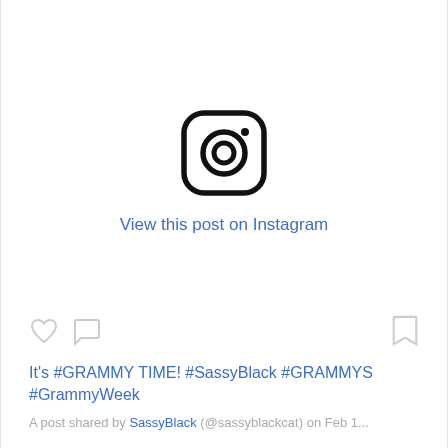[Figure (logo): Instagram camera logo icon, black outline on white background]
View this post on Instagram
[Figure (other): Heart icon, comment bubble icon on left; bookmark icon on right]
It's #GRAMMY TIME! #SassyBlack #GRAMMYS #GrammyWeek
A post shared by SassyBlack (@sassyblackcat) on Feb 1...